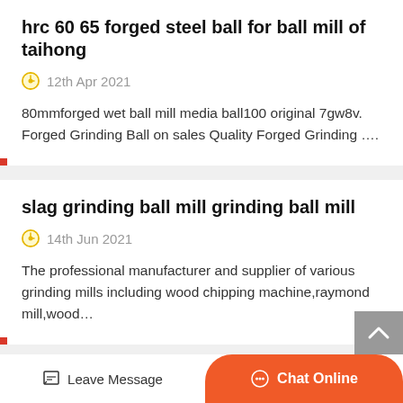hrc 60 65 forged steel ball for ball mill of taihong
12th Apr 2021
80mmforged wet ball mill media ball100 original 7gw8v. Forged Grinding Ball on sales Quality Forged Grinding ….
slag grinding ball mill grinding ball mill
14th Jun 2021
The professional manufacturer and supplier of various grinding mills including wood chipping machine,raymond mill,wood…
latest products big capacity coal pulverized machine
Leave Message
Chat Online